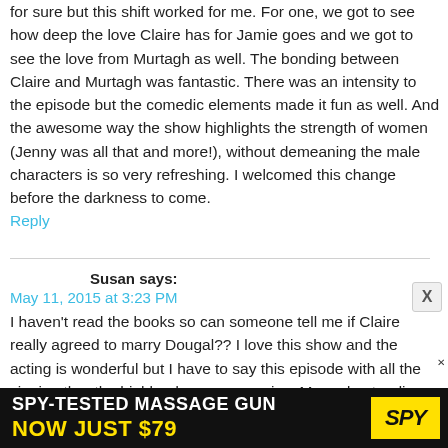for sure but this shift worked for me. For one, we got to see how deep the love Claire has for Jamie goes and we got to see the love from Murtagh as well. The bonding between Claire and Murtagh was fantastic. There was an intensity to the episode but the comedic elements made it fun as well. And the awesome way the show highlights the strength of women (Jenny was all that and more!), without demeaning the male characters is so very refreshing. I welcomed this change before the darkness to come.
Reply
Susan says:
May 11, 2015 at 3:23 PM
I haven't read the books so can someone tell me if Claire really agreed to marry Dougal?? I love this show and the acting is wonderful but I have to say this episode with all the singing thru the highlands was excessive. My understanding is that they only did this for a few weeks m
[Figure (other): Advertisement banner: SPY-TESTED MASSAGE GUN NOW JUST $79 with SPY logo in yellow on black background]